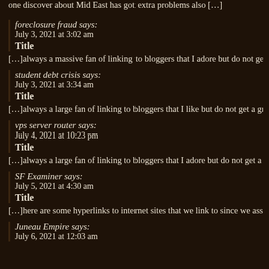one discover about Mid East has got extra problems also […]
foreclosure fraud says:
July 3, 2021 at 3:02 am
Title
[…]always a massive fan of linking to bloggers that I adore but do not get a lot of…
student debt crisis says:
July 3, 2021 at 3:34 am
Title
[…]always a large fan of linking to bloggers that I like but do not get a gre…
vps server router says:
July 4, 2021 at 10:23 pm
Title
[…]always a large fan of linking to bloggers that I adore but do not get a g…
SF Examiner says:
July 5, 2021 at 4:30 am
Title
[…]here are some hyperlinks to internet sites that we link to since we assur…
Juneau Empire says:
July 6, 2021 at 12:03 am